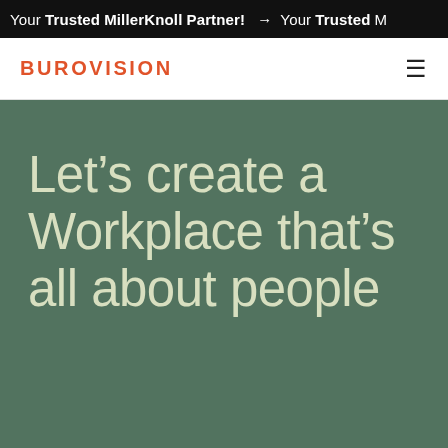Your Trusted MillerKnoll Partner! → Your Trusted M
BUROVISION
Let's create a Workplace that's all about people